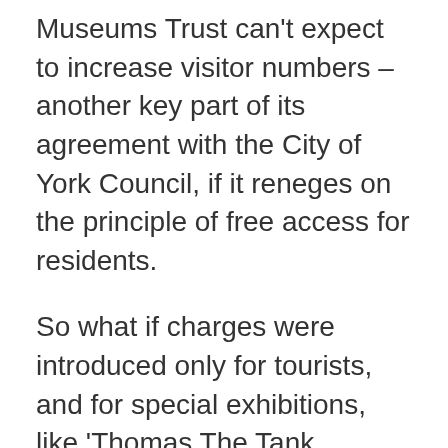Museums Trust can't expect to increase visitor numbers – another key part of its agreement with the City of York Council, if it reneges on the principle of free access for residents.
So what if charges were introduced only for tourists, and for special exhibitions, like 'Thomas The Tank Engine' events at the National Railway Museum? Well, that could be part of a sensible negotiation with the new Council administration as we know that tourists are the larger percentage of admissions to York Art Gallery. An open